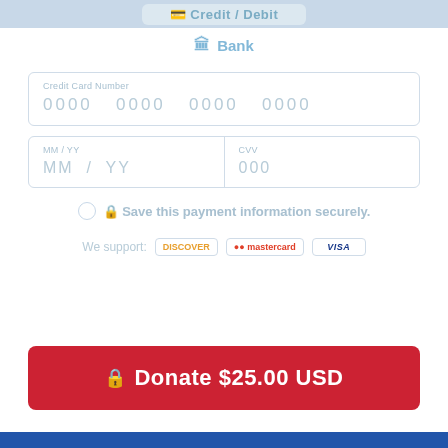[Figure (screenshot): Top partial tab bar showing Credit/Debit tab selected]
🏛 Bank
Credit Card Number
0000   0000   0000   0000
MM/YY  MM / YY
CVV  000
🔒 Save this payment information securely.
We support:  DISCOVER  Mastercard  VISA
🔒 Donate $25.00 USD